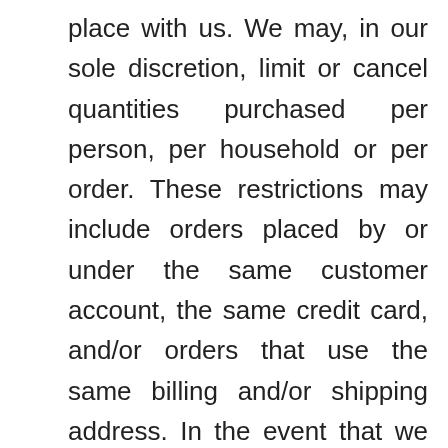place with us. We may, in our sole discretion, limit or cancel quantities purchased per person, per household or per order. These restrictions may include orders placed by or under the same customer account, the same credit card, and/or orders that use the same billing and/or shipping address. In the event that we make a change to or cancel an order, we may attempt to notify you by contacting the e-mail and/or billing address/phone number provided at the time the order was made. We reserve the right to limit or prohibit orders that, in our sole judgment, appear to be placed by dealers, resellers or distributors.
You agree to provide current, complete and